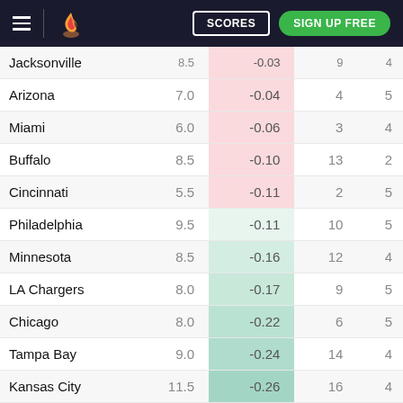SCORES | SIGN UP FREE
| Team |  |  |  |  |
| --- | --- | --- | --- | --- |
| Jacksonville | 8.5 | -0.03 | 9 | 4 |
| Arizona | 7.0 | -0.04 | 4 | 5 |
| Miami | 6.0 | -0.06 | 3 | 4 |
| Buffalo | 8.5 | -0.10 | 13 | 2 |
| Cincinnati | 5.5 | -0.11 | 2 | 5 |
| Philadelphia | 9.5 | -0.11 | 10 | 5 |
| Minnesota | 8.5 | -0.16 | 12 | 4 |
| LA Chargers | 8.0 | -0.17 | 9 | 5 |
| Chicago | 8.0 | -0.22 | 6 | 5 |
| Tampa Bay | 9.0 | -0.24 | 14 | 4 |
| Kansas City | 11.5 | -0.26 | 16 | 4 |
| San Francisco | 10.5 | -0.32 | 14 | 4 |
| Balimore | 11.5 | -0.36 | 14 | 4 |
| Detroit | 6.5 | -0.38 | 6 | 5 |